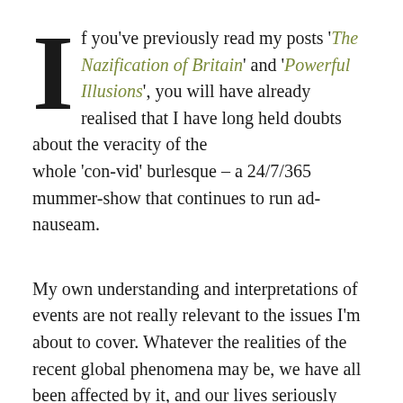If you've previously read my posts 'The Nazification of Britain' and 'Powerful Illusions', you will have already realised that I have long held doubts about the veracity of the whole 'con-vid' burlesque – a 24/7/365 mummer-show that continues to run ad-nauseam.
My own understanding and interpretations of events are not really relevant to the issues I'm about to cover. Whatever the realities of the recent global phenomena may be, we have all been affected by it, and our lives seriously disrupted.